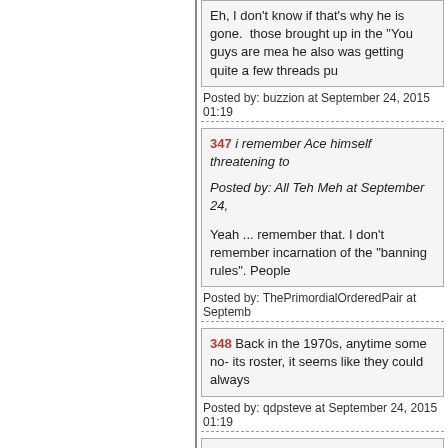Eh, I don't know if that's why he is gone. those brought up in the "You guys are mea he also was getting quite a few threads pu
Posted by: buzzion at September 24, 2015 01:19
347 i remember Ace himself threatening to
Posted by: All Teh Meh at September 24,
Yeah ... remember that. I don't remember incarnation of the "banning rules". People
Posted by: ThePrimordialOrderedPair at Septemb
348 Back in the 1970s, anytime some no- its roster, it seems like they could always
Posted by: qdpsteve at September 24, 2015 01:19
349 I remember him being pretty free swi
Posted by: Lauren at September 24, 2015 01:20